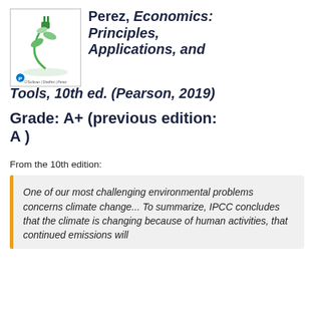[Figure (illustration): Book cover of Economics: Principles, Applications, and Tools with a green plant shaped like an electrical plug on a white background. Pearson branding visible.]
Perez, Economics: Principles, Applications, and Tools, 10th ed. (Pearson, 2019)
Grade: A+ (previous edition: A )
From the 10th edition:
One of our most challenging environmental problems concerns climate change... To summarize, IPCC concludes that the climate is changing because of human activities, that continued emissions will